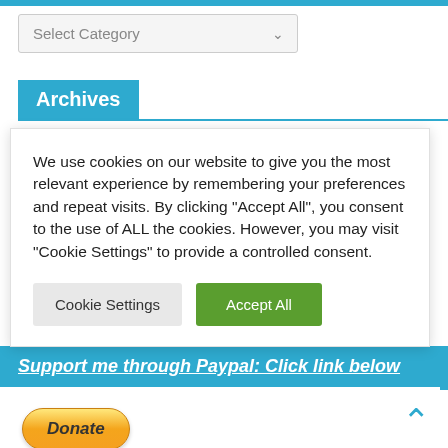[Figure (screenshot): Select Category dropdown UI element]
Archives
We use cookies on our website to give you the most relevant experience by remembering your preferences and repeat visits. By clicking “Accept All”, you consent to the use of ALL the cookies. However, you may visit “Cookie Settings” to provide a controlled consent.
Cookie Settings  Accept All
Support me through Paypal: Click link below
[Figure (other): PayPal Donate button]
[Figure (other): Up chevron / scroll to top arrow]